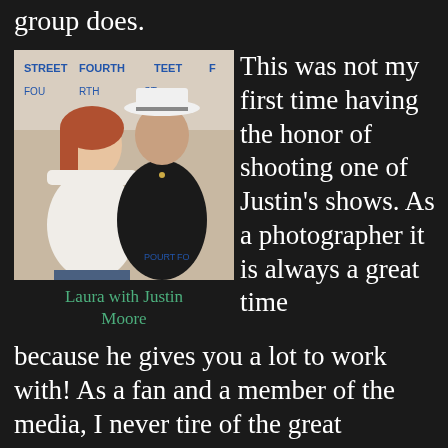group does.
[Figure (photo): Laura with Justin Moore posing together in front of a backdrop with text 'STREET FOURTH STREET FOURTH STREET'. Laura is a woman with reddish hair wearing a white top. Justin Moore is wearing a black jacket and white cowboy hat.]
Laura with Justin Moore
This was not my first time having the honor of shooting one of Justin's shows. As a photographer it is always a great time because he gives you a lot to work with! As a fan and a member of the media, I never tire of the great